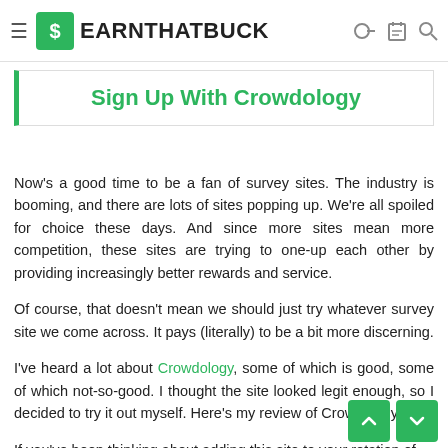EARNTHATBUCK
Sign Up With Crowdology
Now's a good time to be a fan of survey sites. The industry is booming, and there are lots of sites popping up. We're all spoiled for choice these days. And since more sites mean more competition, these sites are trying to one-up each other by providing increasingly better rewards and service.
Of course, that doesn't mean we should just try whatever survey site we come across. It pays (literally) to be a bit more discerning.
I've heard a lot about Crowdology, some of which is good, some of which not-so-good. I thought the site looked legit enough, so I decided to try it out myself. Here's my review of Crowdology.
If you've been thinking about adding this site to your rotation of